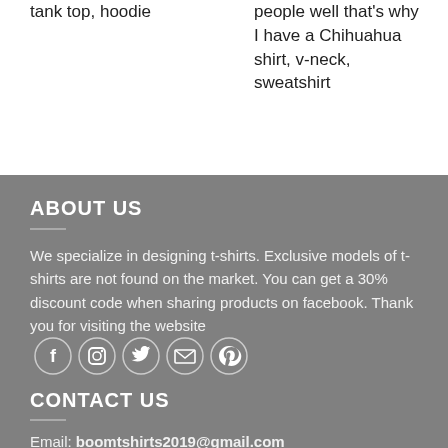tank top, hoodie
people well that's why I have a Chihuahua shirt, v-neck, sweatshirt
ABOUT US
We specialize in designing t-shirts. Exclusive models of t-shirts are not found on the market. You can get a 30% discount code when sharing products on facebook. Thank you for visiting the website
CONTACT US
Email: boomtshirts2019@gmail.com
QUICK LINK